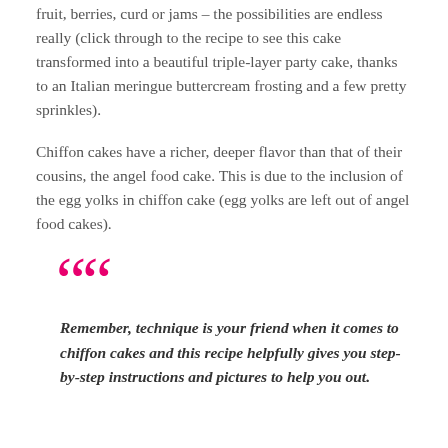fruit, berries, curd or jams – the possibilities are endless really (click through to the recipe to see this cake transformed into a beautiful triple-layer party cake, thanks to an Italian meringue buttercream frosting and a few pretty sprinkles).
Chiffon cakes have a richer, deeper flavor than that of their cousins, the angel food cake. This is due to the inclusion of the egg yolks in chiffon cake (egg yolks are left out of angel food cakes).
Remember, technique is your friend when it comes to chiffon cakes and this recipe helpfully gives you step-by-step instructions and pictures to help you out.